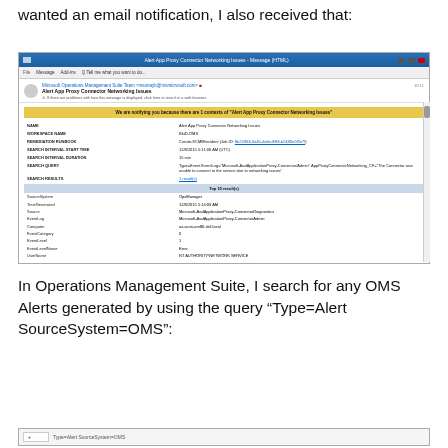wanted an email notification, I also received that:
[Figure (screenshot): Screenshot of an Outlook email from Microsoft Operations Management Suite Team showing an alert for 'Alert App Proxy Connector Networking Issues' with details including NAME, WORKSPACE NAME, REMEDIATION RUNBOOK, SEARCH INTERVAL START TIME, SEARCH INTERVAL DURATION, SEARCH QUERY, SEARCH RESULTS, and a table showing Top 10 result(s) with fields SourceSystem, TimeGenerated, Source, EventLog, Computer, EventCategory, EventLevel, EventLevelName, UserName.]
In Operations Management Suite, I search for any OMS Alerts generated by using the query “Type=Alert SourceSystem=OMS”:
[Figure (screenshot): Partial screenshot showing a search bar with query 'Type=Alert SourceSystem=OMS']